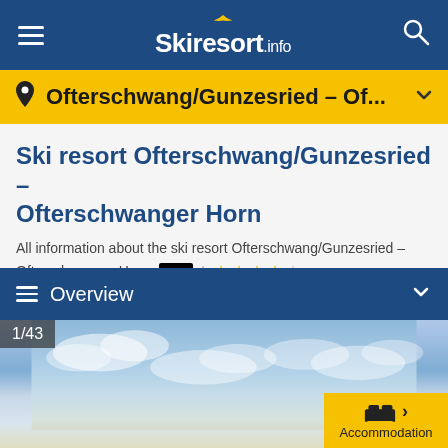Skiresort.info
Ofterschwang/Gunzesried – Of...
Ski resort Ofterschwang/Gunzesried – Ofterschwanger Horn
All information about the ski resort Ofterschwang/Gunzesried – Ofterschwanger Horn
Towns/villages at the ski resort more
Overview
[Figure (photo): Sky photo of ski resort, image 1 of 43]
Accommodation